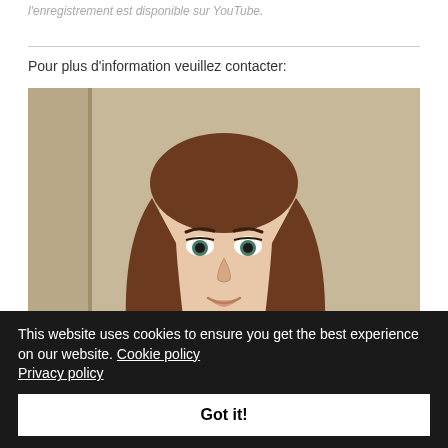l'enregistrement est disponible sur YouTube.
[Figure (photo): Portrait photo of a young woman with long brown hair against a light background]
Pour plus d'information veuillez contacter:
This website uses cookies to ensure you get the best experience on our website. Cookie policy Privacy policy
Got it!